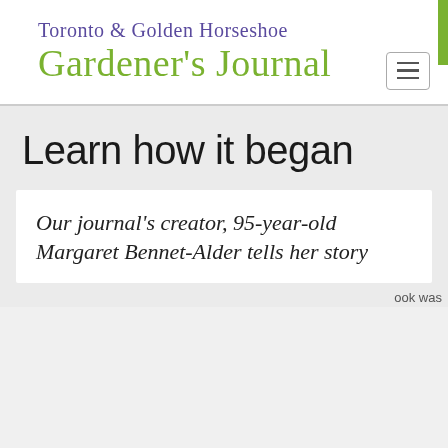Toronto & Golden Horseshoe Gardener's Journal
Learn how it began
Our journal's creator, 95-year-old Margaret Bennet-Alder tells her story
ook was